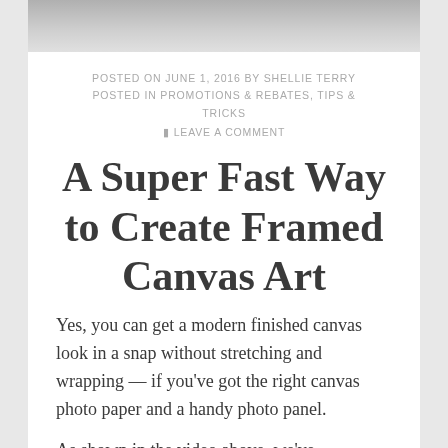[Figure (photo): Top portion of a laptop keyboard/screen visible at the top of the page]
POSTED ON JUNE 1, 2016 BY SHELLIE TERRY
POSTED IN PROMOTIONS & REBATES, TIPS & TRICKS
■ LEAVE A COMMENT
A Super Fast Way to Create Framed Canvas Art
Yes, you can get a modern finished canvas look in a snap without stretching and wrapping — if you've got the right canvas photo paper and a handy photo panel.
As shown in the video above, we've